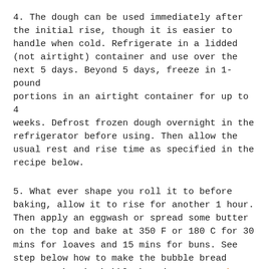4. The dough can be used immediately after the initial rise, though it is easier to handle when cold. Refrigerate in a lidded (not airtight) container and use over the next 5 days. Beyond 5 days, freeze in 1-pound portions in an airtight container for up to 4 weeks. Defrost frozen dough overnight in the refrigerator before using. Then allow the usual rest and rise time as specified in the recipe below.
5. What ever shape you roll it to before baking, allow it to rise for another 1 hour. Then apply an eggwash or spread some butter on the top and bake at 350 F or 180 C for 30 mins for loaves and 15 mins for buns. See step below how to make the bubble bread
How to make the bubble bread, see step by step instructions here
( Note: Zoe used brioche bread dough instead